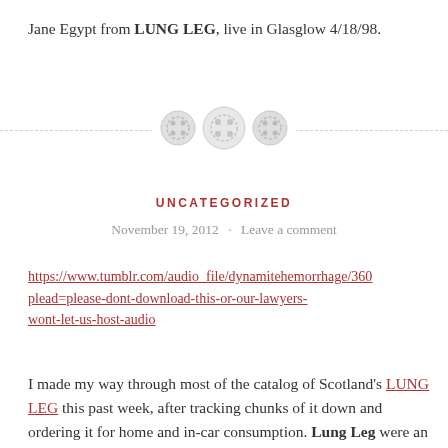Jane Egypt from LUNG LEG, live in Glasglow 4/18/98.
[Figure (illustration): Decorative divider with three button/circle icons on a dashed horizontal line]
UNCATEGORIZED
November 19, 2012  ·  Leave a comment
https://www.tumblr.com/audio_file/dynamitehemorrhage/360...plead=please-dont-download-this-or-our-lawyers-wont-let-us-host-audio
I made my way through most of the catalog of Scotland's LUNG LEG this past week, after tracking chunks of it down and ordering it for home and in-car consumption. Lung Leg were an all-female mid-90s